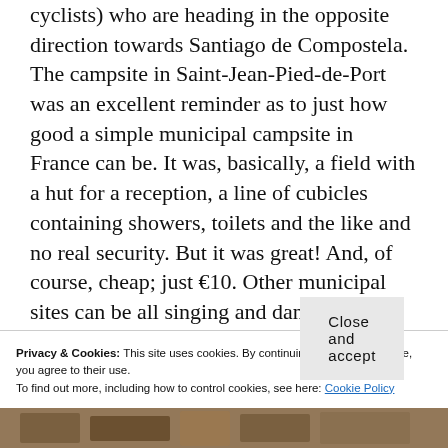cyclists) who are heading in the opposite direction towards Santiago de Compostela. The campsite in Saint-Jean-Pied-de-Port was an excellent reminder as to just how good a simple municipal campsite in France can be. It was, basically, a field with a hut for a reception, a line of cubicles containing showers, toilets and the like and no real security. But it was great! And, of course, cheap; just €10. Other municipal sites can be all singing and dancing but if most sites were like the one in Saint-Jean-Pied-de-Port I think I'd be happy. That said, many wouldn't…
Privacy & Cookies: This site uses cookies. By continuing to use this website, you agree to their use.
To find out more, including how to control cookies, see here: Cookie Policy
Close and accept
[Figure (photo): Bottom edge of page showing a photo strip, partially visible, with brown/sepia tones suggesting an outdoor scene.]